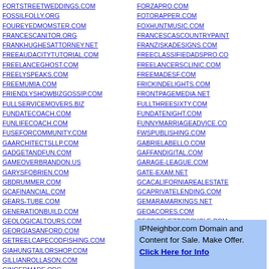FORTSTREETWEDDINGS.COM
FOSSILFOLLY.ORG
FOUREYEDMOMSTER.COM
FRANCESCANITOR.ORG
FRANKHUGHESATTORNEY.NET
FREEAUDACITYTUTORIAL.COM
FREELANCEGHOST.COM
FREELYSPEAKS.COM
FREEMUMIA.COM
FRIENDLYSHOWBIZGOSSIP.COM
FULLSERVICEMOVERS.BIZ
FUNDATECOACH.COM
FUNLIFECOACH.COM
FUSEFORCOMMUNITY.COM
GAARCHITECTSLLP.COM
GADGETANDFUN.COM
GAMEOVERBRANDON.US
GARYSFOBRIEN.COM
GBDRUMMER.COM
GCAFINANCIAL.COM
GEARS-TUBE.COM
GENERATIONBUILD.COM
GEOLOGICALTOURS.COM
GEORGIASANFORD.COM
GETREELCAPECODFISHING.COM
GIAHUNGTAILORSHOP.COM
GILLIANROLLASON.COM
GINGERMADE.ORG
FORZAPRO.COM
FOTORAPPER.COM
FOXHUNTMUSIC.COM
FRANCESCASCOUNTRYPAINT
FRANZISKADESIGNS.COM
FREECLASSIFIEDADSPRO.CO
FREELANCERSCLINIC.COM
FREEMADESF.COM
FRICKINDELIGHTS.COM
FRONTPAGEMEDIA.NET
FULLTHREESIXTY.COM
FUNDATENIGHT.COM
FUNNYMARRIAGEADVICE.CO
FWSPUBLISHING.COM
GABRIELABELLO.COM
GAFFANDIGITAL.COM
GARAGE-LEAGUE.COM
GATE-EXAM.NET
GCACALIFORNIAREALESTATE
GCAPRIVATELENDING.COM
GEMARAMARKINGS.NET
GEOACORES.COM
GEORGEVETTORCYCLE.COM
GERMANCARDXPERT.COM
IPNeighbor.com Domain and Content for Sale. Make Offer. Click Here for Info